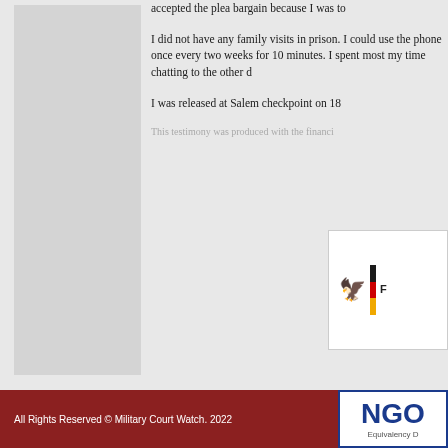accepted the plea bargain because I was to
I did not have any family visits in prison. I could use the phone once every two weeks for 10 minutes. I spent most my time chatting to the other d
I was released at Salem checkpoint on 18
This testimony was produced with the financi
[Figure (logo): German Federal Government eagle logo with German flag vertical stripes (black, red, gold)]
All Rights Reserved © Military Court Watch. 2022
[Figure (logo): NGO Equivalency D... logo in blue border box]